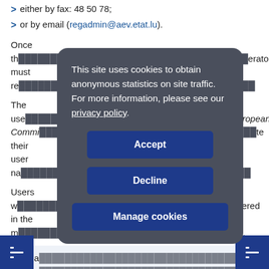either by fax: 48 50 78;
or by email (regadmin@aev.etat.lu).
Once th... erator must re...
The use... ropean Commission... te their user na...
Users w... ntered in the m... hail.
All a... adm... abo... the acco... nge. Moreover,... mber, account holders must confirm that the account
[Figure (screenshot): Cookie consent modal dialog with dark grey rounded background, containing text 'This site uses cookies to obtain anonymous statistics on site traffic. For more information, please see our privacy policy.' and three buttons: Accept, Decline, Manage cookies]